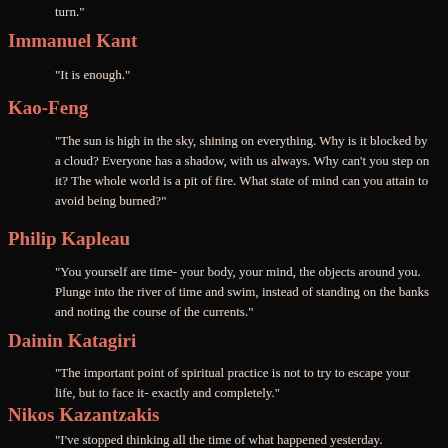turn."
Immanuel Kant
"It is enough."
Kao-Feng
"The sun is high in the sky, shining on everything. Why is it blocked by a cloud? Everyone has a shadow, with us always. Why can't you step on it? The whole world is a pit of fire. What state of mind can you attain to avoid being burned?"
Philip Kapleau
"You yourself are time- your body, your mind, the objects around you. Plunge into the river of time and swim, instead of standing on the banks and noting the course of the currents."
Dainin Katagiri
"The important point of spiritual practice is not to try to escape your life, but to face it- exactly and completely."
Nikos Kazantzakis
"I've stopped thinking all the time of what happened yesterday. And tomorrow I'm self-betting it today comes to...